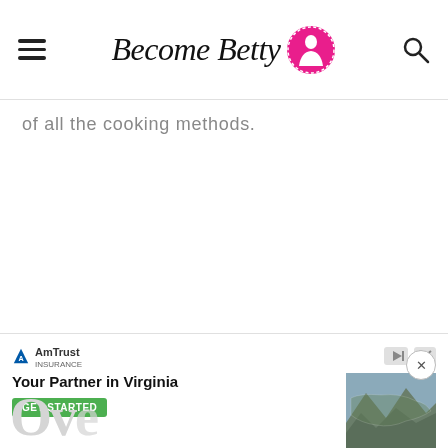Become Betty — website header with hamburger menu, logo, and search icon
of all the cooking methods.
[Figure (screenshot): AmTrust Insurance advertisement: 'Your Partner in Virginia' with a GET STARTED button and a map image of Virginia]
Ove